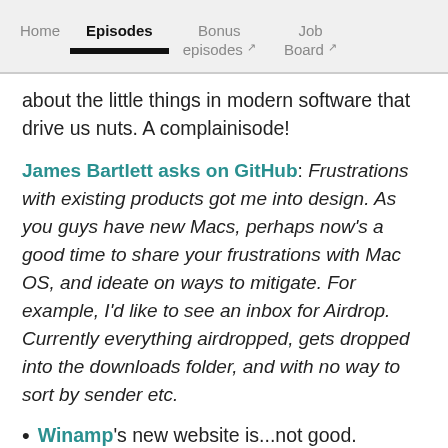Home | Episodes | Bonus episodes ↗ | Job Board ↗
about the little things in modern software that drive us nuts. A complainisode!
James Bartlett asks on GitHub: Frustrations with existing products got me into design. As you guys have new Macs, perhaps now's a good time to share your frustrations with Mac OS, and ideate on ways to mitigate. For example, I'd like to see an inbox for Airdrop. Currently everything airdropped, gets dropped into the downloads folder, and with no way to sort by sender etc.
Winamp's new website is...not good.